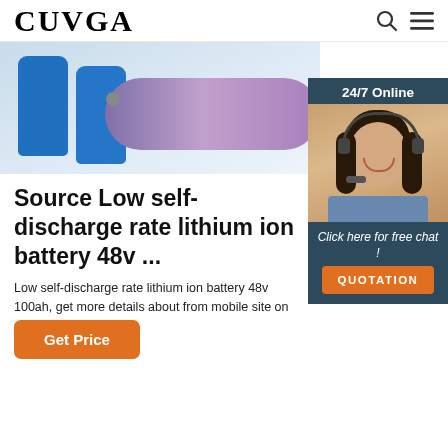CUVGA
[Figure (photo): Photo of lithium ion batteries — blue cylindrical batteries on left and a large purple/mauve horizontal battery cylinder on right, on a light blue-grey background]
[Figure (photo): Sidebar widget with dark teal background showing '24/7 Online' label, photo of a smiling female customer service agent wearing a headset, text 'Click here for free chat!', and an orange QUOTATION button]
Source Low self-discharge rate lithium ion battery 48v ...
Low self-discharge rate lithium ion battery 48v 100ah, get more details about from mobile site on m.alibaba...
Get Price